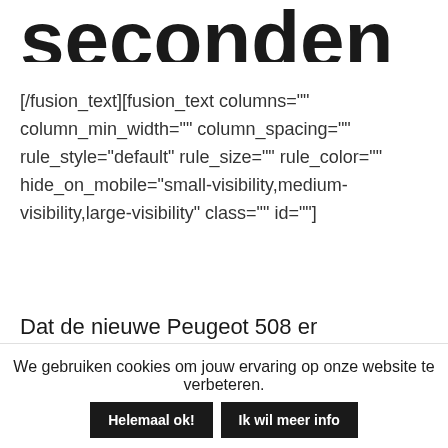seconden
[/fusion_text][fusion_text columns="" column_min_width="" column_spacing="" rule_style="default" rule_size="" rule_color="" hide_on_mobile="small-visibility,medium-visibility,large-visibility" class="" id=""]
Dat de nieuwe Peugeot 508 er verschrikkelijk gaaf uitziet dat heeft bijna iedereen wel door. Maar hoe bevalt de rest van deze auto? Wij zochten het uit in een video van precies 5 minuten en 8 seconden
We gebruiken cookies om jouw ervaring op onze website te verbeteren.
Helemaal ok!
Ik wil meer info